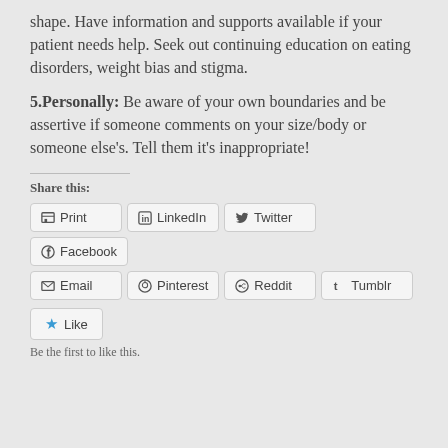shape. Have information and supports available if your patient needs help. Seek out continuing education on eating disorders, weight bias and stigma.
5.Personally: Be aware of your own boundaries and be assertive if someone comments on your size/body or someone else's. Tell them it's inappropriate!
Share this:
Print | LinkedIn | Twitter | Facebook | Email | Pinterest | Reddit | Tumblr
Like
Be the first to like this.